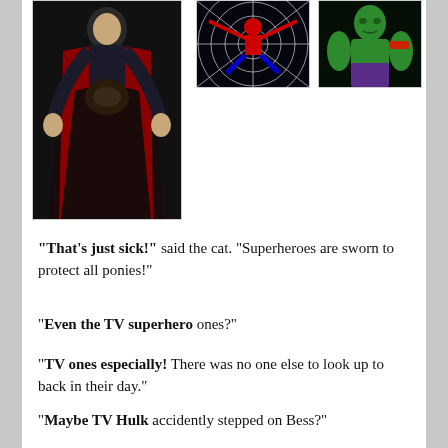[Figure (photo): Three photos of TV superheroes: left is a tall full-body photo of a caped figure in black and red costume, center is Spider-Man on a web background, right is the Hulk in green.]
“That’s just sick!” said the cat. “Superheroes are sworn to protect all ponies!”
“Even the TV superhero ones?”
“TV ones especially! There was no one else to look up to back in their day.”
“Maybe TV Hulk accidently stepped on Bess?”